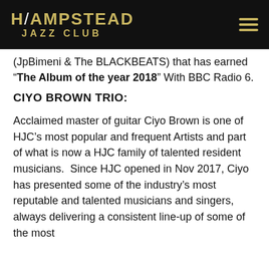HAMPSTEAD JAZZ CLUB
(JpBimeni & The BLACKBEATS) that has earned "The Album of the year 2018" With BBC Radio 6.
CIYO BROWN TRIO:
Acclaimed master of guitar Ciyo Brown is one of HJC's most popular and frequent Artists and part of what is now a HJC family of talented resident musicians.  Since HJC opened in Nov 2017, Ciyo has presented some of the industry's most reputable and talented musicians and singers, always delivering a consistent line-up of some of the most